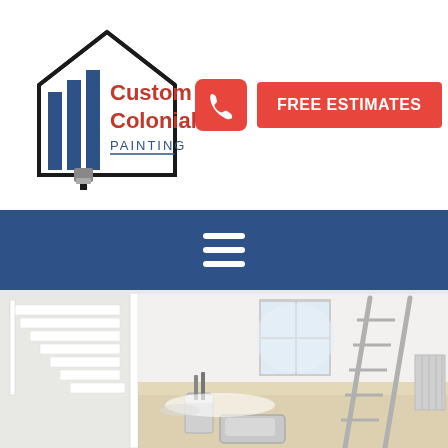[Figure (logo): Custom Colonial Painting logo with house icon and paint brush, text reads Custom Colonial PAINTING]
[Figure (infographic): Red phone icon button and red FREE ESTIMATES button]
[Figure (infographic): Dark blue navigation bar with white hamburger menu icon (three horizontal lines)]
[Figure (photo): Interior room being painted white, showing stairs on left, a window in the background, a stepladder on the right, and paint buckets and roller tray on the floor]